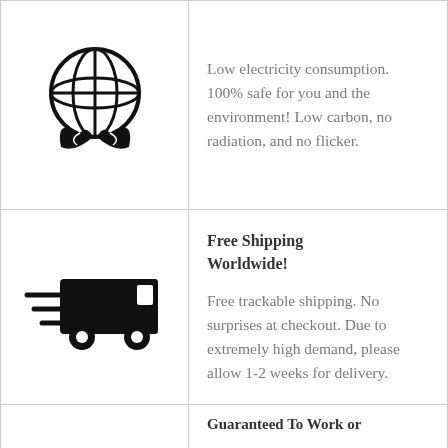[Figure (illustration): Globe with leaf/plant icon representing eco-friendly/low carbon]
Low electricity consumption. 100% safe for you and the environment! Low carbon, no radiation, and no flicker.
[Figure (illustration): Fast delivery truck icon with speed lines]
Free Shipping Worldwide!

Free trackable shipping. No surprises at checkout. Due to extremely high demand, please allow 1-2 weeks for delivery.
Guaranteed To Work or